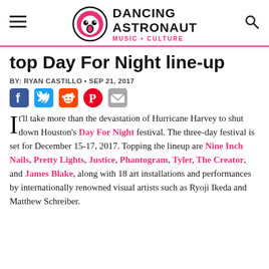Dancing Astronaut — Music • Culture
top Day For Night line-up
BY: RYAN CASTILLO • SEP 21, 2017
[Figure (other): Social share icons: Facebook, Twitter, Reddit, Pinterest, Email]
It'll take more than the devastation of Hurricane Harvey to shut down Houston's Day For Night festival. The three-day festival is set for December 15-17, 2017. Topping the lineup are Nine Inch Nails, Pretty Lights, Justice, Phantogram, Tyler, The Creator, and James Blake, along with 18 art installations and performances by internationally renowned visual artists such as Ryoji Ikeda and Matthew Schreiber.